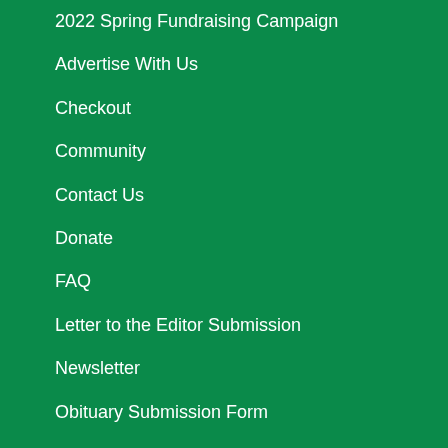2022 Spring Fundraising Campaign
Advertise With Us
Checkout
Community
Contact Us
Donate
FAQ
Letter to the Editor Submission
Newsletter
Obituary Submission Form
Pitch Us A Story
Public Notices
Shop